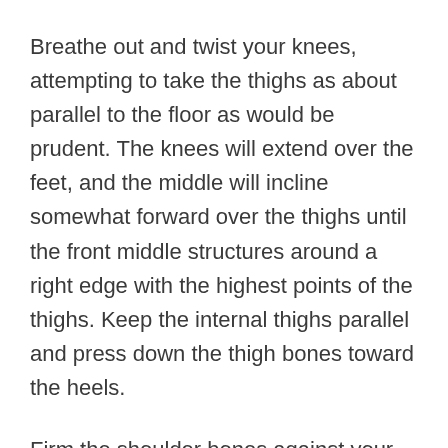Breathe out and twist your knees, attempting to take the thighs as about parallel to the floor as would be prudent. The knees will extend over the feet, and the middle will incline somewhat forward over the thighs until the front middle structures around a right edge with the highest points of the thighs. Keep the internal thighs parallel and press down the thigh bones toward the heels.
Firm the shoulder bones against your back. Toward the floor, bring the tailbone down and in toward the pubis to hold the lower back long.
Stay for 20 to 30 seconds. To leave this posture, rectify